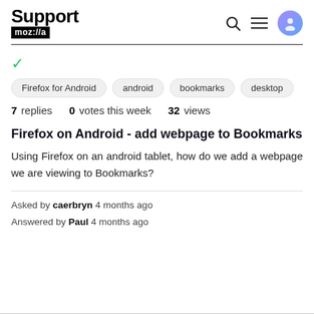Support moz://a
Firefox for Android
android
bookmarks
desktop
7 replies   0 votes this week   32 views
Firefox on Android - add webpage to Bookmarks
Using Firefox on an android tablet, how do we add a webpage we are viewing to Bookmarks?
Asked by caerbryn 4 months ago
Answered by Paul 4 months ago